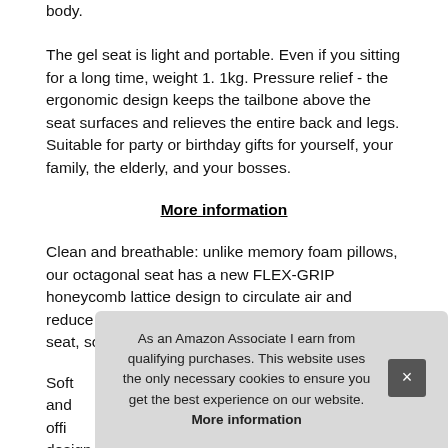body.
The gel seat is light and portable. Even if you sitting for a long time, weight 1. 1kg. Pressure relief - the ergonomic design keeps the tailbone above the seat surfaces and relieves the entire back and legs. Suitable for party or birthday gifts for yourself, your family, the elderly, and your bosses.
More information
Clean and breathable: unlike memory foam pillows, our octagonal seat has a new FLEX-GRIP honeycomb lattice design to circulate air and reduce heat transfer between the buttocks and seat, so you have good breathability.
Soft...and...offi...design adheres firmly and does not fall off easily. Not easily
As an Amazon Associate I earn from qualifying purchases. This website uses the only necessary cookies to ensure you get the best experience on our website. More information